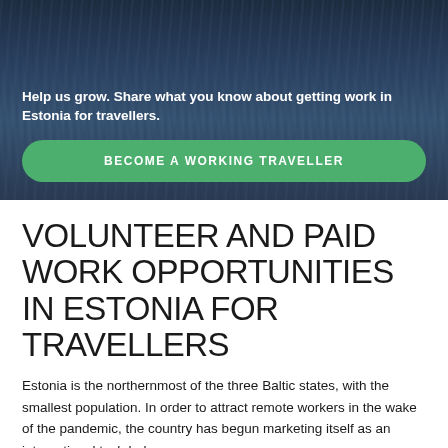[Figure (photo): Dark blue water/ocean background photo used as hero image banner]
Help us grow. Share what you know about getting work in Estonia for travellers.
BECOME A WORKING TRAVELLER
VOLUNTEER AND PAID WORK OPPORTUNITIES IN ESTONIA FOR TRAVELLERS
Estonia is the northernmost of the three Baltic states, with the smallest population. In order to attract remote workers in the wake of the pandemic, the country has begun marketing itself as an international tech hub.
These factors, along with a lower cost of living than the nearby Scandinavian countries, suggests that Estonia is an